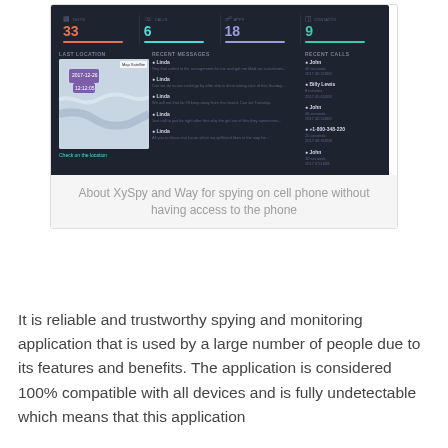[Figure (screenshot): XySpy dashboard screenshot showing stats (33 texts, 6 calls, 18 apps, 9 contacts), a map with last location (2017-12-26, 12:12:05), recent messages from Linda, and recent calls from John, Billy Lewis, and others.]
About XySpy and Way for spying on cell phone without having access to the phone
It is reliable and trustworthy spying and monitoring application that is used by a large number of people due to its features and benefits. The application is considered 100% compatible with all devices and is fully undetectable which means that this application